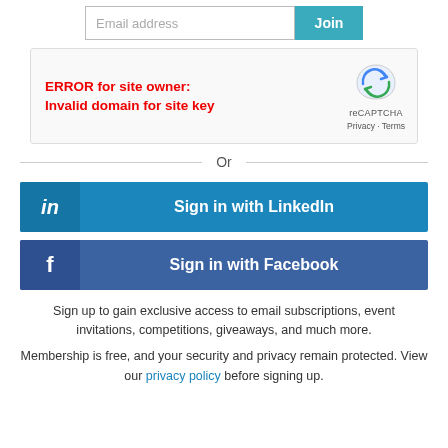[Figure (screenshot): Email address input field with placeholder text 'Email address' and a teal 'Join' button]
[Figure (screenshot): reCAPTCHA widget showing error in red: 'ERROR for site owner: Invalid domain for site key', with reCAPTCHA logo, Privacy and Terms links]
Or
[Figure (screenshot): LinkedIn sign-in button with LinkedIn 'in' logo icon and text 'Sign in with LinkedIn']
[Figure (screenshot): Facebook sign-in button with Facebook 'f' logo icon and text 'Sign in with Facebook']
Sign up to gain exclusive access to email subscriptions, event invitations, competitions, giveaways, and much more.
Membership is free, and your security and privacy remain protected. View our privacy policy before signing up.